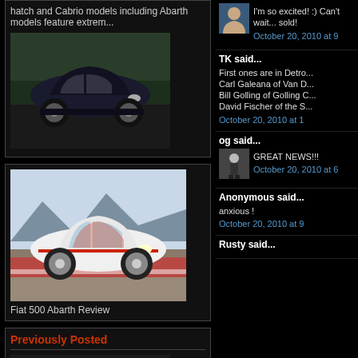hatch and Cabrio models including Abarth models feature extrem...
[Figure (photo): Black Fiat 500 car on road]
[Figure (photo): White Fiat 500 Abarth on racing track]
Fiat 500 Abarth Review
Previously Posted
[Figure (photo): Car photo partially visible]
I'm so excited! :) Can't wait... sold!
October 20, 2010 at 9
TK said...
First ones are in Detro... Carl Galeana of Van D... Bill Golling of Golling C... David Fischer of the S...
October 20, 2010 at 1
og said...
[Figure (photo): Avatar of commenter og]
GREAT NEWS!!!
October 20, 2010 at 6
Anonymous said...
anxious !
October 20, 2010 at 9
Rusty said...